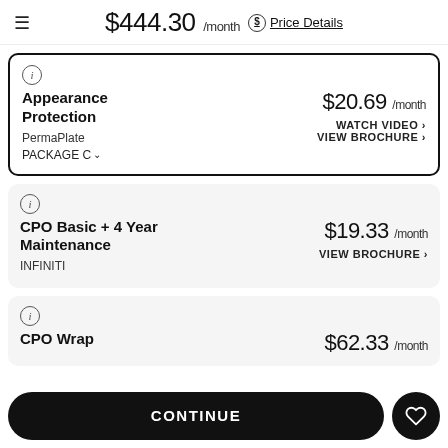$444.30 /month Price Details
Appearance Protection
PermaPlate
PACKAGE C
$20.69 /month
WATCH VIDEO
VIEW BROCHURE
CPO Basic + 4 Year Maintenance
INFINITI
$19.33 /month
VIEW BROCHURE
CPO Wrap
$62.33 /month
CONTINUE